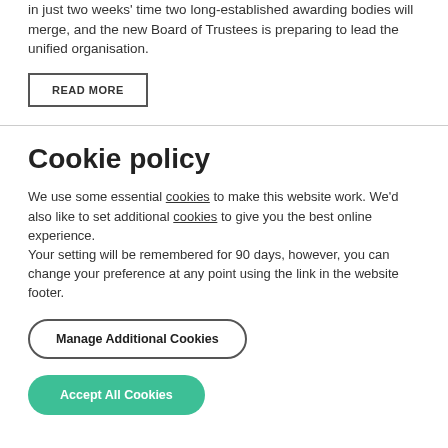in just two weeks' time two long-established awarding bodies will merge, and the new Board of Trustees is preparing to lead the unified organisation.
READ MORE
Cookie policy
We use some essential cookies to make this website work. We'd also like to set additional cookies to give you the best online experience.
Your setting will be remembered for 90 days, however, you can change your preference at any point using the link in the website footer.
Manage Additional Cookies
Accept All Cookies